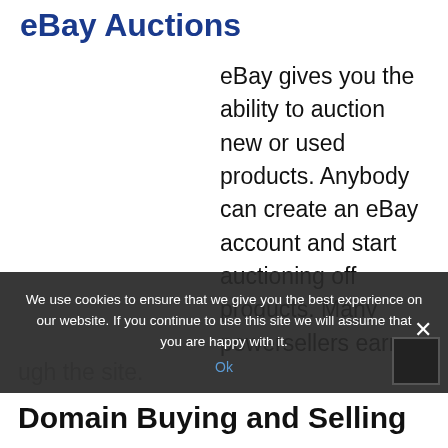eBay Auctions
eBay gives you the ability to auction new or used products. Anybody can create an eBay account and start auctioning off products. Many powersellers earn
We use cookies to ensure that we give you the best experience on our website. If you continue to use this site we will assume that you are happy with it.
Ok
ugh the site.
Domain Buying and Selling